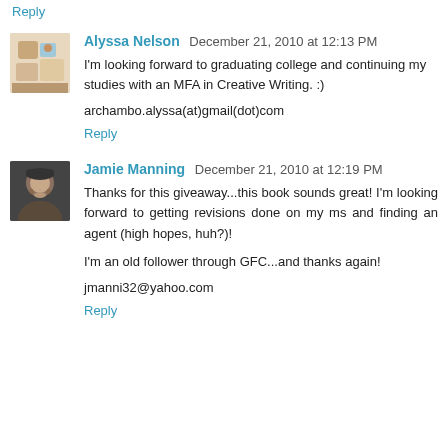Reply
Alyssa Nelson  December 21, 2010 at 12:13 PM
I'm looking forward to graduating college and continuing my studies with an MFA in Creative Writing. :)
archambo.alyssa(at)gmail(dot)com
Reply
Jamie Manning  December 21, 2010 at 12:19 PM
Thanks for this giveaway...this book sounds great! I'm looking forward to getting revisions done on my ms and finding an agent (high hopes, huh?)!
I'm an old follower through GFC...and thanks again!
jmanni32@yahoo.com
Reply